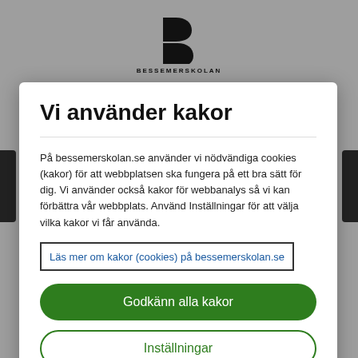[Figure (logo): Bessemerskolan logo - stylized B letter mark in black with text BESSEMERSKOLAN below]
Vi använder kakor
På bessemerskolan.se använder vi nödvändiga cookies (kakor) för att webbplatsen ska fungera på ett bra sätt för dig. Vi använder också kakor för webbanalys så vi kan förbättra vår webbplats. Använd Inställningar för att välja vilka kakor vi får använda.
Läs mer om kakor (cookies) på bessemerskolan.se
Godkänn alla kakor
Inställningar